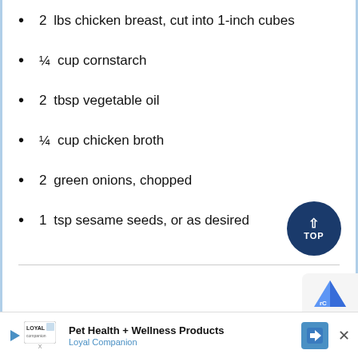2 lbs chicken breast, cut into 1-inch cubes
¼ cup cornstarch
2 tbsp vegetable oil
¼ cup chicken broth
2 green onions, chopped
1 tsp sesame seeds, or as desired
Pet Health + Wellness Products Loyal Companion